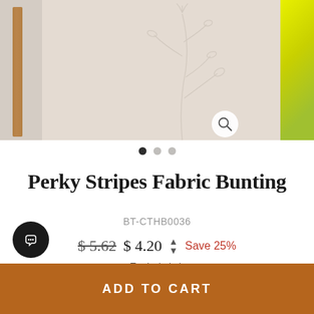[Figure (photo): Product image carousel showing fabric bunting. Left panel shows wooden shelf on beige background, center panel shows large beige background with botanical line art and a magnify icon, right panel shows yellow/green fabric. Three navigation dots below.]
Perky Stripes Fabric Bunting
BT-CTHB0036
$5.62  $4.20  Save 25%
Tax included.
[Figure (illustration): Two small illustrated icons: a clipboard/notepad icon on the left, and a gift/wrapped item icon on the right]
ADD TO CART